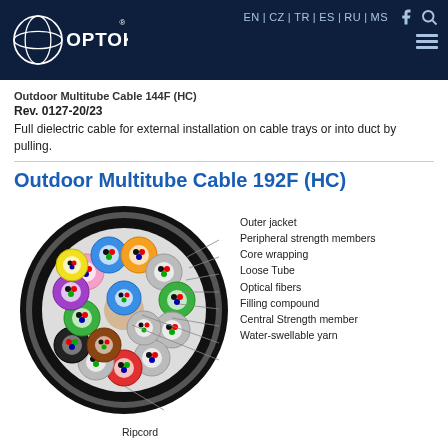OPTOKON — EN | CZ | TR | ES | RU | MS
Outdoor Multitube Cable 144F (HC)
Rev. 0127-20/23
Full dielectric cable for external installation on cable trays or into duct by pulling.
Outdoor Multitube Cable 192F (HC)
[Figure (engineering-diagram): Cross-section diagram of Outdoor Multitube Cable 192F (HC) showing labeled components: Outer jacket, Peripheral strength members, Core wrapping, Loose Tube, Optical fibers, Filling compound, Central Strength member, Water-swellable yarn, Ripcord. The diagram shows a circular cable cross-section with multiple colored tubes arranged in a ring around a central element, all within a black outer jacket.]